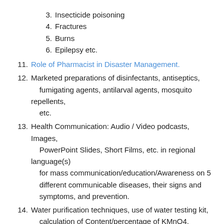3. Insecticide poisoning
4. Fractures
5. Burns
6. Epilepsy etc.
11. Role of Pharmacist in Disaster Management.
12. Marketed preparations of disinfectants, antiseptics, fumigating agents, antilarval agents, mosquito repellents, etc.
13. Health Communication: Audio / Video podcasts, Images, PowerPoint Slides, Short Films, etc. in regional language(s) for mass communication/education/Awareness on 5 different communicable diseases, their signs and symptoms, and prevention.
14. Water purification techniques, use of water testing kit, calculation of Content/percentage of KMnO4, bleaching powder to be used for wells/tanks